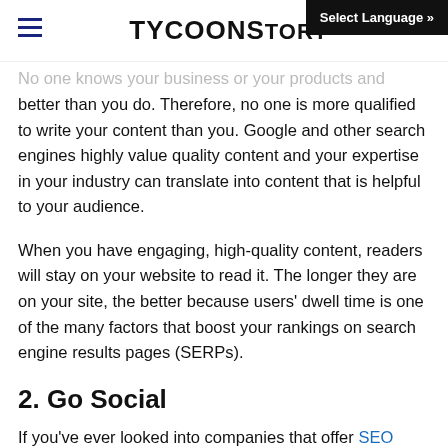TYCOON STORY | Select Language »
No one knows your business or your products and services better than you do. Therefore, no one is more qualified to write your content than you. Google and other search engines highly value quality content and your expertise in your industry can translate into content that is helpful to your audience.
When you have engaging, high-quality content, readers will stay on your website to read it. The longer they are on your site, the better because users' dwell time is one of the many factors that boost your rankings on search engine results pages (SERPs).
2. Go Social
If you've ever looked into companies that offer SEO services, you might have noticed that one of the constants is social media marketing or social media management. Social